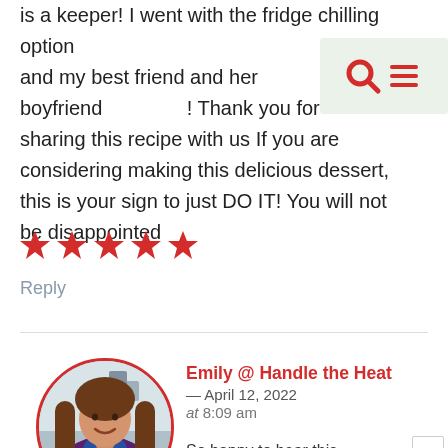is a keeper! I went with the fridge chilling option and my best friend and her boyfriend! Thank you for sharing this recipe with us If you are considering making this delicious dessert, this is your sign to just DO IT! You will not be disappointed
[Figure (other): Five red star rating icons]
Reply
[Figure (photo): Circular profile photo of Emily from Handle the Heat, a woman with long hair wearing a purple jacket, holding a small round dish, in a kitchen setting. Framed by a red circular border.]
Emily @ Handle the Heat — April 12, 2022 at 8:09 am
So happy to hear this recipe was a hit! Thanks for the rave review!